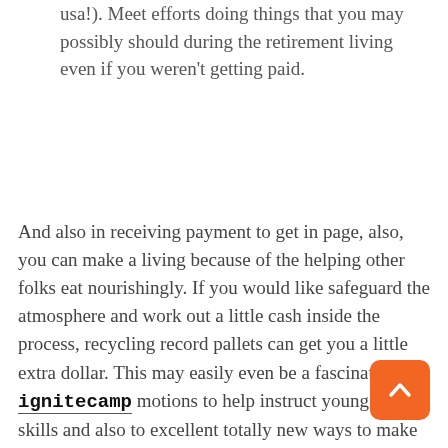usa!). Meet efforts doing things that you may possibly should during the retirement living even if you weren't getting paid.
And also in receiving payment to get in page, also, you can make a living because of the helping other folks eat nourishingly. If you would like safeguard the atmosphere and work out a little cash inside the process, recycling record pallets can get you a little extra dollar. This may easily even be a fascinating ignitecamp motions to help instruct young ones skills and also to excellent totally new ways to make money within teen years. And also in earning profits from your own home online, it's additionally likely to make money utilizing your refreshed time and enjoy in